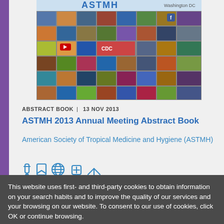[Figure (photo): Mosaic collage of ASTMH meeting photos including flags, people, and event imagery. ASTMH logo visible at top.]
ABSTRACT BOOK | 13 NOV 2013
ASTMH 2013 Annual Meeting Abstract Book
American Society of Tropical Medicine and Hygiene (ASTMH)
[Figure (illustration): Row of five blue icons: test tube, bookmark/document, globe, medical cross/plus, share arrow]
This website uses first- and third-party cookies to obtain information on your search habits and to improve the quality of our services and your browsing on our website. To consent to our use of cookies, click OK or continue browsing.
OK
More information